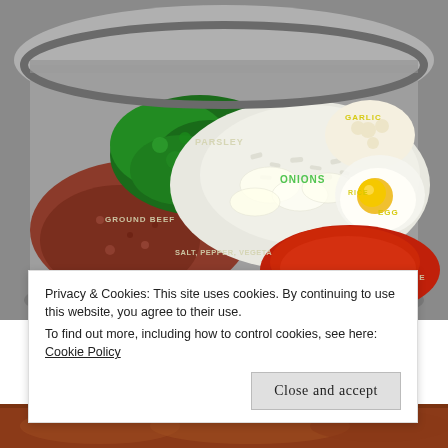[Figure (photo): A large mixing bowl containing meatball ingredients labeled with text overlays: PARSLEY (green herbs), ONIONS (chopped white onions), GARLIC (top right), EGG (cracked egg with yolk visible), RICE, GROUND BEEF (raw minced meat), SALT, PEPPER, VEGETA (seasonings), TOMATO PUREE (red paste). Bowl appears to be stainless steel.]
Privacy & Cookies: This site uses cookies. By continuing to use this website, you agree to their use.
To find out more, including how to control cookies, see here: Cookie Policy
Close and accept
[Figure (photo): Bottom strip showing a cooked meat dish, reddish-brown color, partially visible.]